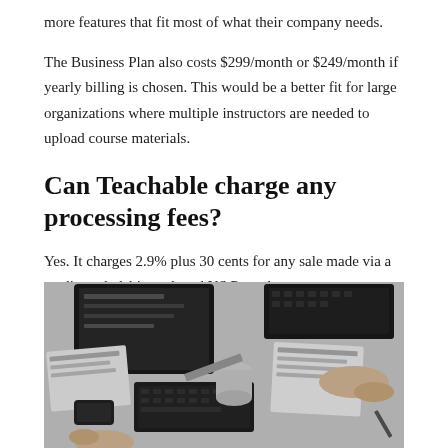more features that fit most of what their company needs.
The Business Plan also costs $299/month or $249/month if yearly billing is chosen. This would be a better fit for large organizations where multiple instructors are needed to upload course materials.
Can Teachable charge any processing fees?
Yes. It charges 2.9% plus 30 cents for any sale made via a credit card, debit card, and US Paypal account. International cards are charged 3.9% and 30c. International PayPal gets charged 4.4% and 30 cents.
[Figure (photo): Black and white overhead view of a desk workspace with two people, keyboards, monitors, papers, and office supplies.]